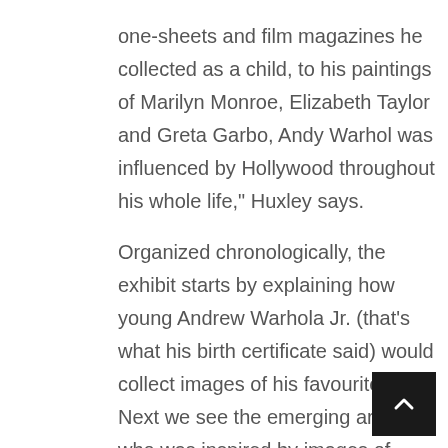one-sheets and film magazines he collected as a child, to his paintings of Marilyn Monroe, Elizabeth Taylor and Greta Garbo, Andy Warhol was influenced by Hollywood throughout his whole life," Huxley says.

Organized chronologically, the exhibit starts by explaining how young Andrew Warhola Jr. (that's what his birth certificate said) would collect images of his favourite stars. Next we see the emerging artist, who was inspired by images of celebrity to create a series of screen prints of famous faces. Then at last we meet the established auteur, who used video and television to prove the power of the image